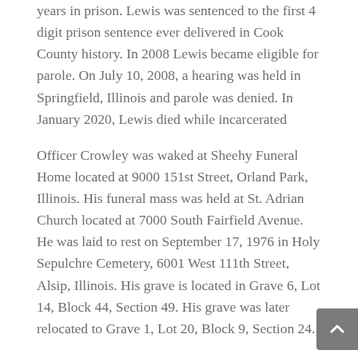years in prison. Lewis was sentenced to the first 4 digit prison sentence ever delivered in Cook County history. In 2008 Lewis became eligible for parole. On July 10, 2008, a hearing was held in Springfield, Illinois and parole was denied. In January 2020, Lewis died while incarcerated
Officer Crowley was waked at Sheehy Funeral Home located at 9000 151st Street, Orland Park, Illinois. His funeral mass was held at St. Adrian Church located at 7000 South Fairfield Avenue. He was laid to rest on September 17, 1976 in Holy Sepulchre Cemetery, 6001 West 111th Street, Alsip, Illinois. His grave is located in Grave 6, Lot 14, Block 44, Section 49. His grave was later relocated to Grave 1, Lot 20, Block 9, Section 24.
Patrolman Patrick Joseph Crowley, born October 26, 1944, received his Probationary Appointment to the Chicago Police Department on June 20, 1966. He earned 3 Department Commendations and 228 Honorable Mentions during his career. He had also left the police